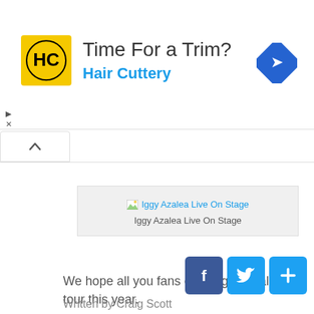[Figure (other): Advertisement banner for Hair Cuttery with yellow logo, 'Time For a Trim?' text, and a blue diamond navigation arrow icon]
[Figure (other): Image placeholder showing 'Iggy Azalea Live On Stage' with a broken image icon and caption below]
We hope all you fans enjoy Iggy Azalea on tour this year.
[Figure (other): Social media share buttons: Facebook (blue), Twitter (blue bird), and a blue plus/share button]
Written by Craig Scott